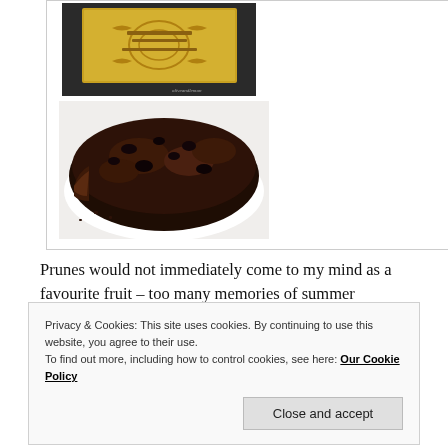[Figure (photo): Two food photos: top shows a gold patterned chocolate box packaging, bottom shows a dark chocolate brownie with visible fruit pieces on a white surface]
Prunes would not immediately come to my mind as a favourite fruit – too many memories of summer
Privacy & Cookies: This site uses cookies. By continuing to use this website, you agree to their use.
To find out more, including how to control cookies, see here: Our Cookie Policy
Close and accept
recipe – If it is Scotch or Cadbury's wait until you do the